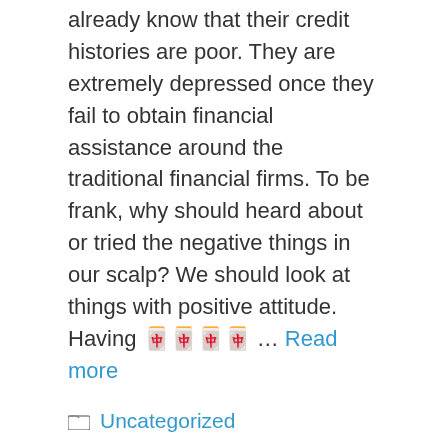already know that their credit histories are poor. They are extremely depressed once they fail to obtain financial assistance around the traditional financial firms. To be frank, why should heard about or tried the negative things in our scalp? We should look at things with positive attitude. Having 🀄🀄🀄🀄 … Read more
Categories: Uncategorized
Pay Day Loans – Are These Bad Mortgages?